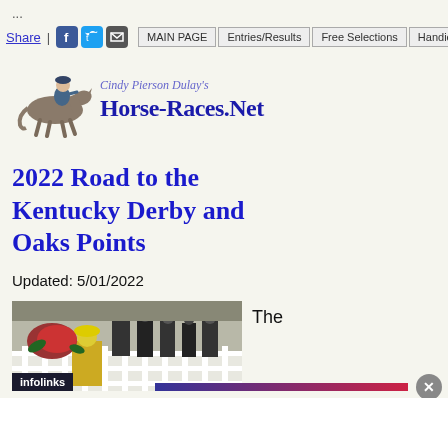...
Share | [Facebook] [Twitter] [Email] | MAIN PAGE | Entries/Results | Free Selections | Handicapping
[Figure (logo): Cindy Pierson Dulay's Horse-Races.Net logo with jockey on horse illustration]
2022 Road to the Kentucky Derby and Oaks Points
Updated: 5/01/2022
[Figure (photo): Kentucky Derby winner's circle photo with people in formal attire and roses, infolinks badge at bottom]
The